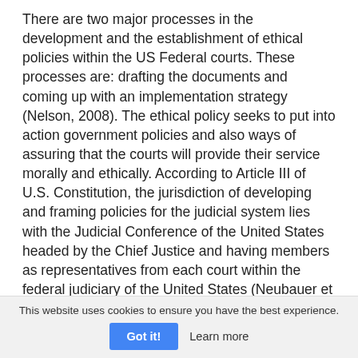There are two major processes in the development and the establishment of ethical policies within the US Federal courts. These processes are: drafting the documents and coming up with an implementation strategy (Nelson, 2008). The ethical policy seeks to put into action government policies and also ways of assuring that the courts will provide their service morally and ethically. According to Article III of U.S. Constitution, the jurisdiction of developing and framing policies for the judicial system lies with the Judicial Conference of the United States headed by the Chief Justice and having members as representatives from each court within the federal judiciary of the United States (Neubauer et al., 2017). In the establishment of the ethical policy within my federal district, as a Chief judge of the
This website uses cookies to ensure you have the best experience.
Got it!   Learn more